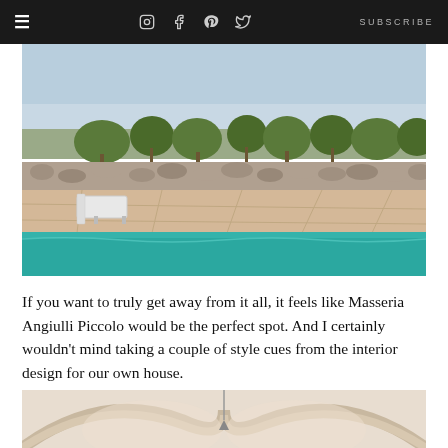≡  [instagram] [facebook] [pinterest] [twitter]  SUBSCRIBE
[Figure (photo): Outdoor swimming pool with stone paved terrace, a lounge chair, dry-stone wall, and Mediterranean trees and landscape in the background under a clear sky — Masseria Angiulli Piccolo]
If you want to truly get away from it all, it feels like Masseria Angiulli Piccolo would be the perfect spot. And I certainly wouldn't mind taking a couple of style cues from the interior design for our own house.
[Figure (photo): Interior architectural detail showing curved arched ceiling in cream/white plaster — Masseria Angiulli Piccolo interior]